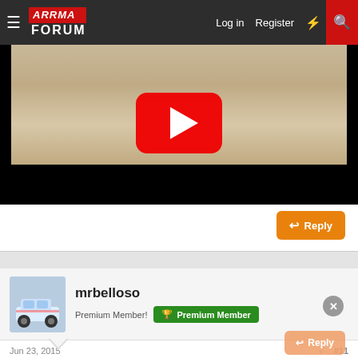ARRMA FORUM — Log in | Register
[Figure (screenshot): YouTube video thumbnail showing sandy terrain with play button overlay]
Reply
[Figure (photo): User avatar: RC car (DeLorean-style) on a race track]
mrbelloso
Premium Member!
Premium Member badge
Jun 23, 2015
#11
Great. Especially the hair cut.
Reply